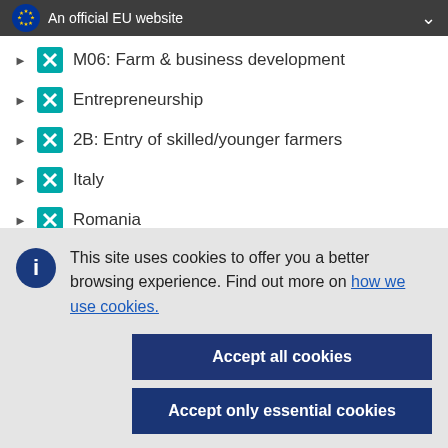An official EU website
M06: Farm & business development
Entrepreneurship
2B: Entry of skilled/younger farmers
Italy
Romania
Job creation
This site uses cookies to offer you a better browsing experience. Find out more on how we use cookies.